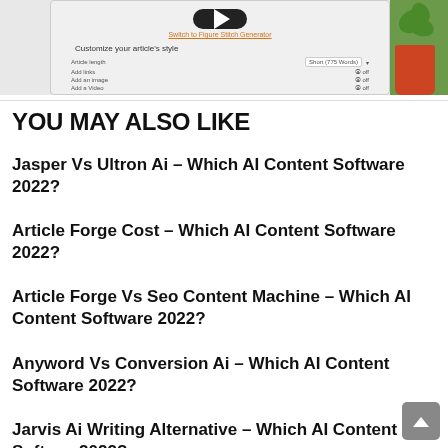[Figure (screenshot): Partial screenshot of a web UI showing a video player button, a link, and article customization options (article length, add links, add an image, add a video toggles). Right side shows a photo of a plant in a red pot.]
YOU MAY ALSO LIKE
Jasper Vs Ultron Ai – Which AI Content Software 2022?
Article Forge Cost – Which AI Content Software 2022?
Article Forge Vs Seo Content Machine – Which AI Content Software 2022?
Anyword Vs Conversion Ai – Which AI Content Software 2022?
Jarvis Ai Writing Alternative – Which AI Content Software 2022?